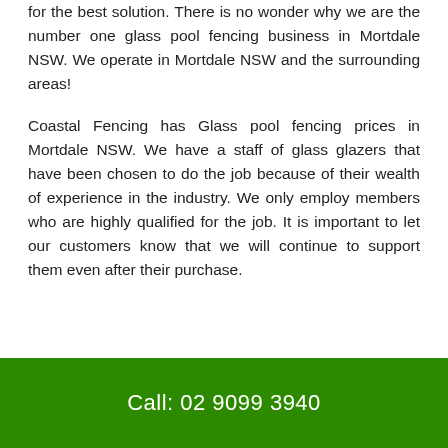for the best solution. There is no wonder why we are the number one glass pool fencing business in Mortdale NSW. We operate in Mortdale NSW and the surrounding areas!
Coastal Fencing has Glass pool fencing prices in Mortdale NSW. We have a staff of glass glazers that have been chosen to do the job because of their wealth of experience in the industry. We only employ members who are highly qualified for the job. It is important to let our customers know that we will continue to support them even after their purchase.
Call: 02 9099 3940